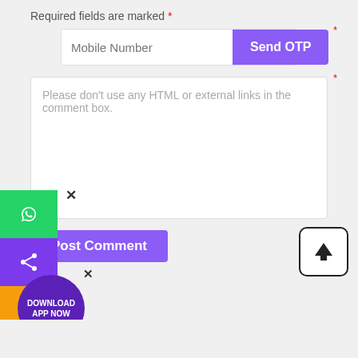Required fields are marked *
[Figure (screenshot): Mobile Number input field with Send OTP purple button]
[Figure (screenshot): Comment textarea with placeholder text: Please don't use any HTML or external links in the comment box.]
[Figure (screenshot): Post Comment purple button]
[Figure (screenshot): Side floating buttons: close X, WhatsApp (green), Share (purple), Phone (orange)]
[Figure (screenshot): Scroll to top button - black arrow in rounded square]
[Figure (screenshot): Download App NOW circular badge in purple with close X]